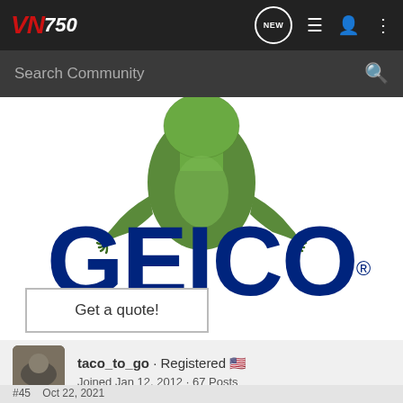VN750 · NEW · (menu icons)
Search Community
[Figure (logo): GEICO insurance advertisement with the GEICO gecko mascot (green lizard) perched over large blue GEICO lettering with registered trademark symbol.]
Get a quote!
[Figure (photo): Avatar photo of user taco_to_go showing a motorcycle]
taco_to_go · Registered 🇺🇸
Joined Jan 12, 2012 · 67 Posts
#45    Oct 22, 2021